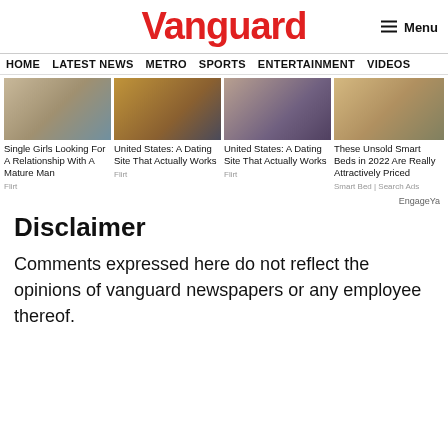Vanguard  Menu
HOME  LATEST NEWS  METRO  SPORTS  ENTERTAINMENT  VIDEOS
[Figure (photo): Four advertisement thumbnails in a grid: 1) Blonde woman, 2) Woman posing, 3) Woman in black, 4) Smart bed product]
Single Girls Looking For A Relationship With A Mature Man
Flirt
United States: A Dating Site That Actually Works
Flirt
United States: A Dating Site That Actually Works
Flirt
These Unsold Smart Beds in 2022 Are Really Attractively Priced
Smart Bed | Search Ads
EngageYa
Disclaimer
Comments expressed here do not reflect the opinions of vanguard newspapers or any employee thereof.